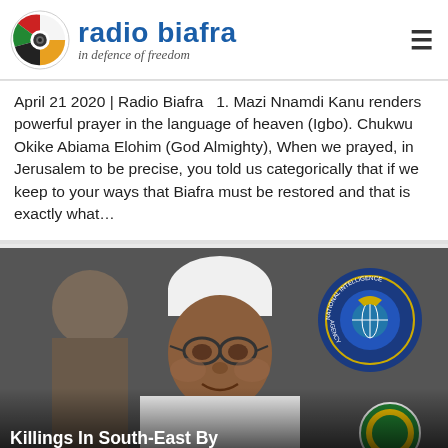radio biafra — in defence of freedom
April 21 2020 | Radio Biafra   1. Mazi Nnamdi Kanu renders powerful prayer in the language of heaven (Igbo). Chukwu Okike Abiama Elohim (God Almighty), When we prayed, in Jerusalem to be precise, you told us categorically that if we keep to your ways that Biafra must be restored and that is exactly what…
[Figure (photo): Photo of a man in white cap and glasses, appearing to be Nigerian President Muhammadu Buhari, seated at a desk with a National Intelligence Agency seal visible in the background, and an Igbo Development Foundation logo visible at the bottom right. Caption reads: Killings In South-East By]
Killings In South-East By